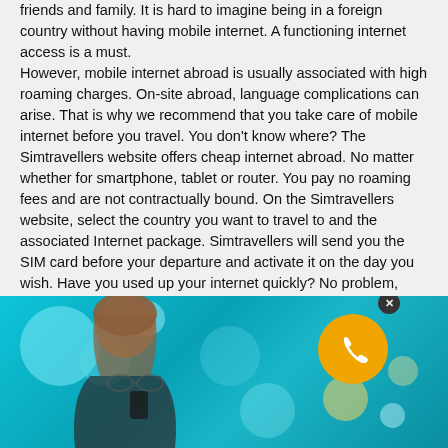friends and family. It is hard to imagine being in a foreign country without having mobile internet. A functioning internet access is a must. However, mobile internet abroad is usually associated with high roaming charges. On-site abroad, language complications can arise. That is why we recommend that you take care of mobile internet before you travel. You don't know where? The Simtravellers website offers cheap internet abroad. No matter whether for smartphone, tablet or router. You pay no roaming fees and are not contractually bound. On the Simtravellers website, select the country you want to travel to and the associated Internet package. Simtravellers will send you the SIM card before your departure and activate it on the day you wish. Have you used up your internet quickly? No problem, because at Simtravellers you can also recharge your SIM card. So you are safe and well connected.
[Figure (photo): Photo of a woman (partial view) with blurred bokeh background in teal/cyan tones, with an orange circular phone/call button overlay with close (x) button above it]